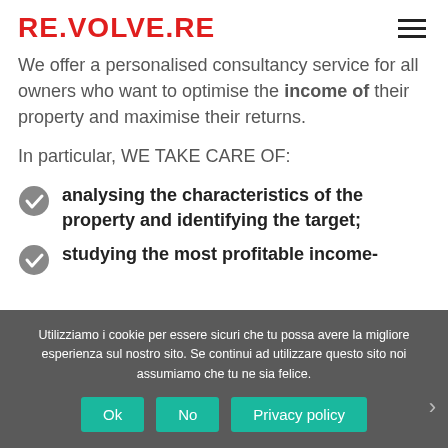RE.VOLVE.RE
We offer a personalised consultancy service for all owners who want to optimise the income of their property and maximise their returns.
In particular, WE TAKE CARE OF:
analysing the characteristics of the property and identifying the target;
studying the most profitable income-
Utilizziamo i cookie per essere sicuri che tu possa avere la migliore esperienza sul nostro sito. Se continui ad utilizzare questo sito noi assumiamo che tu ne sia felice.